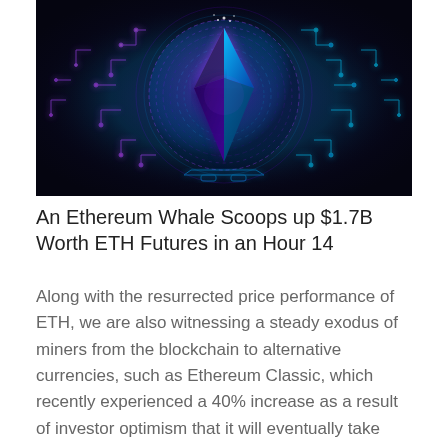[Figure (illustration): Stylized Ethereum logo diamond shape in pink/blue gradient on dark navy background with glowing circuit board lines and concentric rings, sci-fi digital aesthetic]
An Ethereum Whale Scoops up $1.7B Worth ETH Futures in an Hour 14
Along with the resurrected price performance of ETH, we are also witnessing a steady exodus of miners from the blockchain to alternative currencies, such as Ethereum Classic, which recently experienced a 40% increase as a result of investor optimism that it will eventually take over the